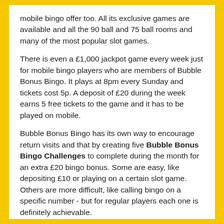mobile bingo offer too. All its exclusive games are available and all the 90 ball and 75 ball rooms and many of the most popular slot games.
There is even a £1,000 jackpot game every week just for mobile bingo players who are members of Bubble Bonus Bingo. It plays at 8pm every Sunday and tickets cost 5p. A deposit of £20 during the week earns 5 free tickets to the game and it has to be played on mobile.
Bubble Bonus Bingo has its own way to encourage return visits and that by creating five Bubble Bonus Bingo Challenges to complete during the month for an extra £20 bingo bonus. Some are easy, like depositing £10 or playing on a certain slot game. Others are more difficult, like calling bingo on a specific number - but for regular players each one is definitely achievable.
Bubble Bonus Bingo is fun and is excellent in everything it does - check it out.